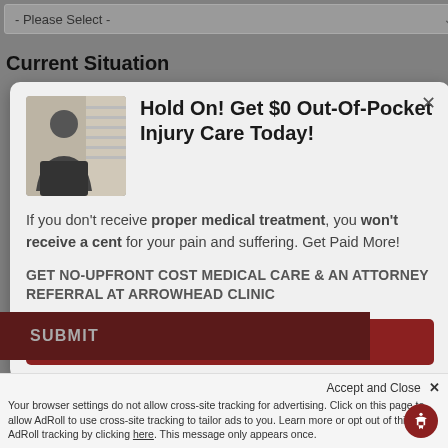- Please Select -
Current Situation
Hold On! Get $0 Out-Of-Pocket Injury Care Today!
If you don't receive proper medical treatment, you won't receive a cent for your pain and suffering. Get Paid More!
GET NO-UPFRONT COST MEDICAL CARE & AN ATTORNEY REFERRAL AT ARROWHEAD CLINIC
Schedule Free Consultation
SUBMIT
Accept and Close ✕
Your browser settings do not allow cross-site tracking for advertising. Click on this page to allow AdRoll to use cross-site tracking to tailor ads to you. Learn more or opt out of this AdRoll tracking by clicking here. This message only appears once.